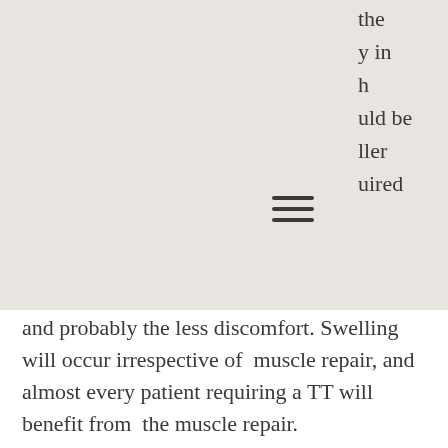[Figure (other): Gray background panel covering top portion of the page with a hamburger menu icon and partial text visible on the right side]
and probably the less discomfort. Swelling will occur irrespective of muscle repair, and almost every patient requiring a TT will benefit from the muscle repair. I place the scar as low as possible. This will be below the level of a C-section scar and almost to the level of the leg crease. With the low scar, the scar can be concealed by virtually any piece of clothing. The key is how the tension is managed at the end of the TT. Schedule an appointment with a board certified plastic surgeon.